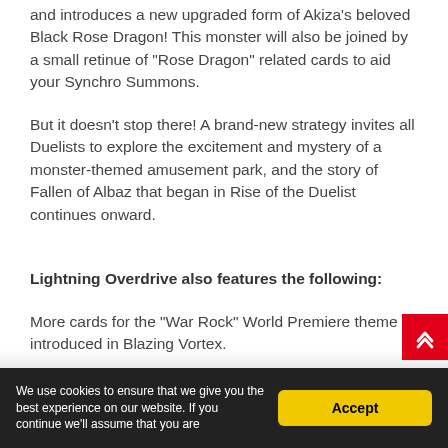and introduces a new upgraded form of Akiza's beloved Black Rose Dragon! This monster will also be joined by a small retinue of "Rose Dragon" related cards to aid your Synchro Summons.
But it doesn't stop there! A brand-new strategy invites all Duelists to explore the excitement and mystery of a monster-themed amusement park, and the story of Fallen of Albaz that began in Rise of the Duelist continues onward.
Lightning Overdrive also features the following:
More cards for the "War Rock" World Premiere theme introduced in Blazing Vortex.
New cards for strategies introduced in Phantom Rage, Genesis Impact, and Blazing Vortex.
We use cookies to ensure that we give you the best experience on our website. If you continue we'll assume that you are Accept